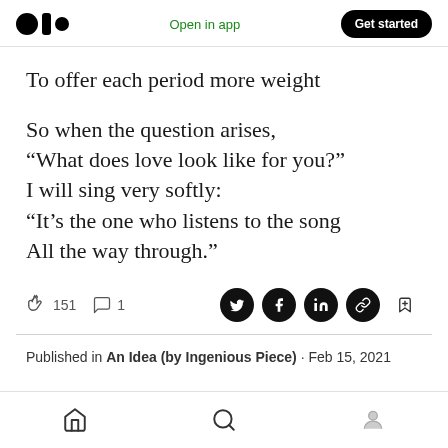Medium logo | Open in app | Get started
To offer each period more weight
So when the question arises,
“What does love look like for you?”
I will sing very softly:
“It’s the one who listens to the song
All the way through.”
151  1  [social share icons]
Published in An Idea (by Ingenious Piece) · Feb 15, 2021
[home icon]  [search icon]  [profile icon]